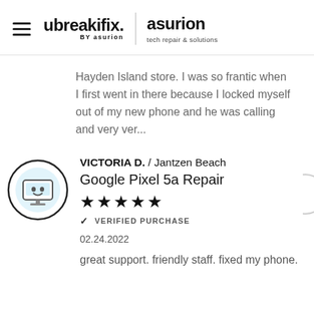ubreakifix. BY asurion | asurion tech repair & solutions
Hayden Island store. I was so frantic when I first went in there because I locked myself out of my new phone and he was calling and very ver...
VICTORIA D. / Jantzen Beach
Google Pixel 5a Repair
★★★★★
✓ VERIFIED PURCHASE
02.24.2022
great support. friendly staff. fixed my phone.